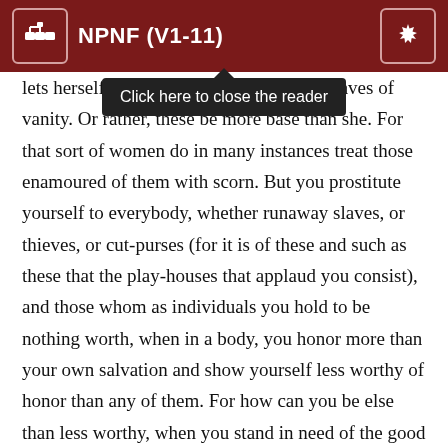NPNF (V1-11)
lets herself [Click here to close the reader] that be slaves of vanity. Or rather, these be more base than she. For that sort of women do in many instances treat those enamoured of them with scorn. But you prostitute yourself to everybody, whether runaway slaves, or thieves, or cut-purses (for it is of these and such as these that the play-houses that applaud you consist), and those whom as individuals you hold to be nothing worth, when in a body, you honor more than your own salvation and show yourself less worthy of honor than any of them. For how can you be else than less worthy, when you stand in need of the good word of others, and fancy